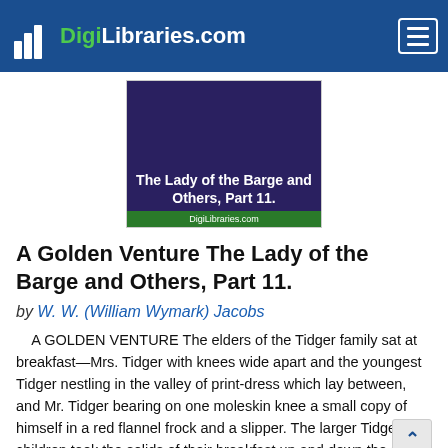DigiLibraries.com
[Figure (illustration): Book cover image showing title 'The Lady of the Barge and Others, Part 11.' on a dark purple background with DigiLibraries.com watermark in green bar at bottom]
A Golden Venture The Lady of the Barge and Others, Part 11.
by W. W. (William Wymark) Jacobs
A GOLDEN VENTURE The elders of the Tidger family sat at breakfast—Mrs. Tidger with knees wide apart and the youngest Tidger nestling in the valley of print-dress which lay between, and Mr. Tidger bearing on one moleskin knee a small copy of himself in a red flannel frock and a slipper. The larger Tidger children took the solids of their breakfast up and down the stone-flagged court outside, coming in occasionally to gulp draughts of... more...